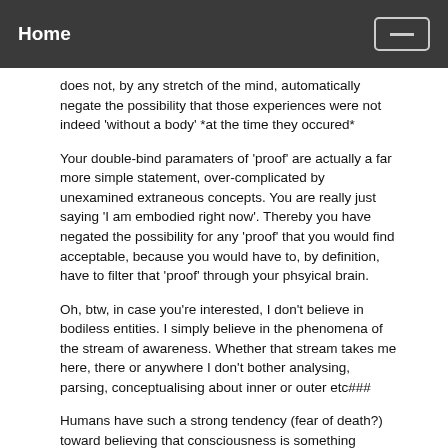Home
does not, by any stretch of the mind, automatically negate the possibility that those experiences were not indeed 'without a body' *at the time they occured*
Your double-bind paramaters of 'proof' are actually a far more simple statement, over-complicated by unexamined extraneous concepts. You are really just saying 'I am embodied right now'. Thereby you have negated the possibility for any 'proof' that you would find acceptable, because you would have to, by definition, have to filter that 'proof' through your phsyical brain.
Oh, btw, in case you're interested, I don't believe in bodiless entities. I simply believe in the phenomena of the stream of awareness. Whether that stream takes me here, there or anywhere I don't bother analysing, parsing, conceptualising about inner or outer etc###
Humans have such a strong tendency (fear of death?) toward believing that consciousness is something immaterial, it's really difficult to comprehend that ever